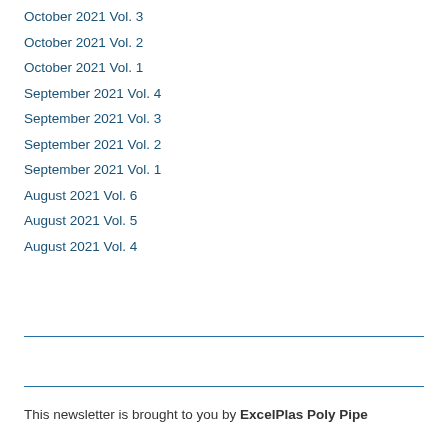October 2021 Vol. 3
October 2021 Vol. 2
October 2021 Vol. 1
September 2021 Vol. 4
September 2021 Vol. 3
September 2021 Vol. 2
September 2021 Vol. 1
August 2021 Vol. 6
August 2021 Vol. 5
August 2021 Vol. 4
This newsletter is brought to you by ExcelPlas Poly Pipe